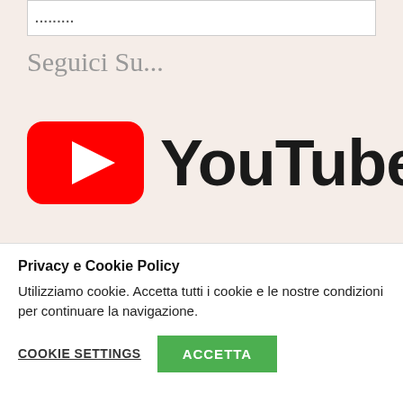......
Seguici Su...
[Figure (logo): YouTube logo with red play button icon and 'YouTube' wordmark in black bold text]
Privacy e Cookie Policy
Utilizziamo cookie. Accetta tutti i cookie e le nostre condizioni per continuare la navigazione.
COOKIE SETTINGS   ACCETTA